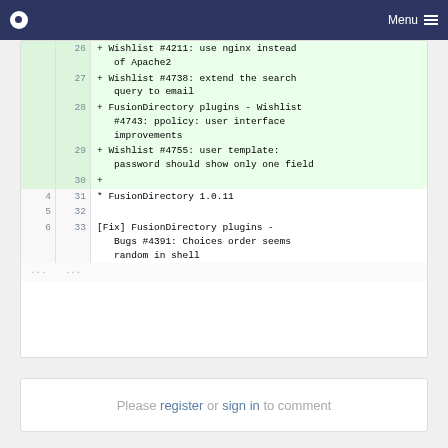Menu
| old_ln | new_ln | code |
| --- | --- | --- |
|  | 26 | + Wishlist #4211: use nginx instead of Apache2 |
|  | 27 | + Wishlist #4738: extend the search query to email |
|  | 28 | + FusionDirectory plugins - Wishlist #4743: ppolicy: user interface improvements |
|  | 29 | + Wishlist #4755: user template: password should show only one field |
|  | 30 | + |
| 4 | 31 | * FusionDirectory 1.0.11 |
| 5 | 32 |  |
| 6 | 33 | [Fix] FusionDirectory plugins - Bugs #4391: Choices order seems random in shell |
| ... | ... |  |
Please register or sign in to comment